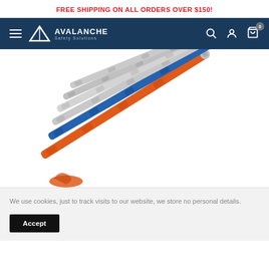FREE SHIPPING ON ALL ORDERS OVER $150!
[Figure (logo): Avalanche Safety Solutions logo with mountain peak icon, white text on dark navy background, with hamburger menu, search, account, and cart icons]
[Figure (photo): Multiple avalanche probe poles fanned out diagonally, including orange and blue colored poles with silver segmented sections, product photography on white background]
We use cookies, just to track visits to our website, we store no personal details.
Accept